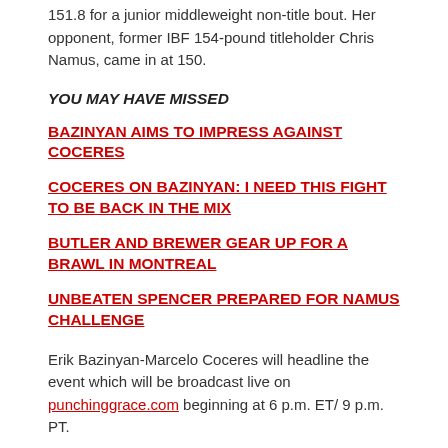151.8 for a junior middleweight non-title bout. Her opponent, former IBF 154-pound titleholder Chris Namus, came in at 150.
YOU MAY HAVE MISSED
BAZINYAN AIMS TO IMPRESS AGAINST COCERES
COCERES ON BAZINYAN: I NEED THIS FIGHT TO BE BACK IN THE MIX
BUTLER AND BREWER GEAR UP FOR A BRAWL IN MONTREAL
UNBEATEN SPENCER PREPARED FOR NAMUS CHALLENGE
Erik Bazinyan-Marcelo Coceres will headline the event which will be broadcast live on punchinggrace.com beginning at 6 p.m. ET/ 9 p.m. PT.